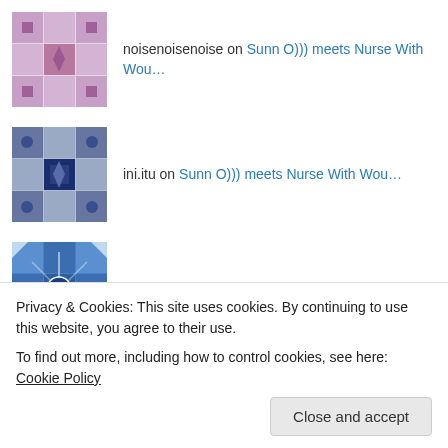noisenoisenoise on Sunn O))) meets Nurse With Wou…
ini.itu on Sunn O))) meets Nurse With Wou…
boilingboy on Birchville Cat Motel – N…
Advertisements
[Figure (logo): Longreads logo on dark red background with decorative border]
Privacy & Cookies: This site uses cookies. By continuing to use this website, you agree to their use.
To find out more, including how to control cookies, see here: Cookie Policy
Close and accept